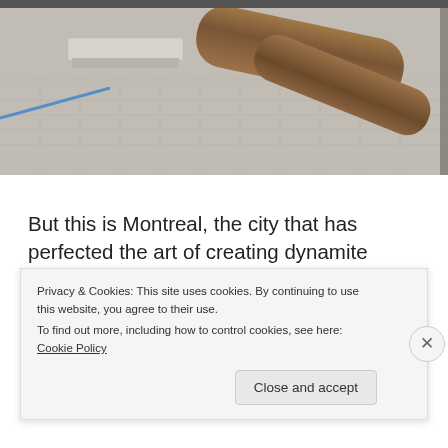[Figure (photo): Outdoor plaza with concrete bench and logs on paved brick/stone surface, with blue painted line visible]
But this is Montreal, the city that has perfected the art of creating dynamite public spaces that practically have a magnetic pull: you can't help but stop and stay awhile. Whether it's a bunch of logs or giant projections on the sides of buildings at night or light strung up overhead in a
Privacy & Cookies: This site uses cookies. By continuing to use this website, you agree to their use.
To find out more, including how to control cookies, see here: Cookie Policy
Close and accept